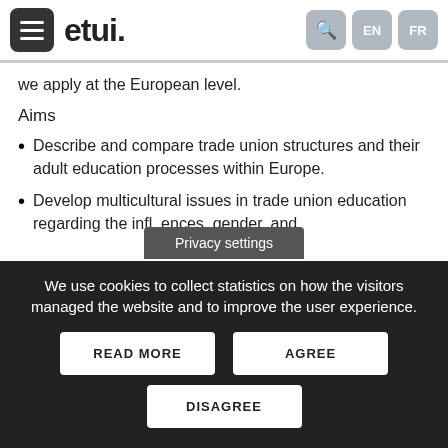etui. | EN | FR
we apply at the European level.
Aims
Describe and compare trade union structures and their adult education processes within Europe.
Develop multicultural issues in trade union education regarding the influence of cultural differences, gender, and
Privacy settings
We use cookies to collect statistics on how the visitors managed the website and to improve the user experience.
READ MORE
AGREE
DISAGREE